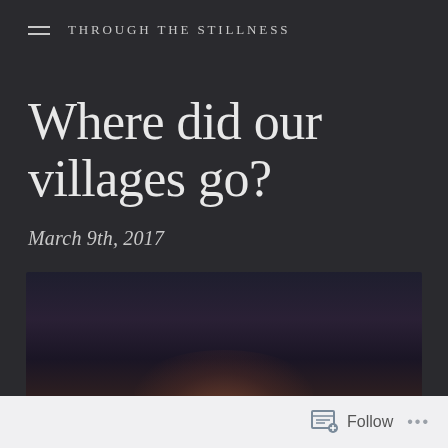THROUGH THE STILLNESS
Where did our villages go?
March 9th, 2017
[Figure (photo): Dark atmospheric photo with a warm amber/orange glowing light source near the bottom center, against a deep dark blue-purple background]
Follow ...